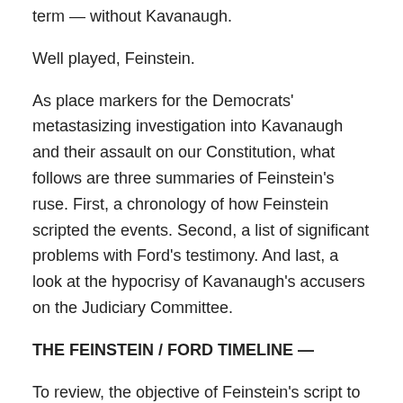term — without Kavanaugh.
Well played, Feinstein.
As place markers for the Democrats' metastasizing investigation into Kavanaugh and their assault on our Constitution, what follows are three summaries of Feinstein's ruse. First, a chronology of how Feinstein scripted the events. Second, a list of significant problems with Ford's testimony. And last, a look at the hypocrisy of Kavanaugh's accusers on the Judiciary Committee.
THE FEINSTEIN / FORD TIMELINE —
To review, the objective of Feinstein's script to derail Kavanaugh was, and remains, to influence the midterm elections (particularly to flip the Senate, which would then make it difficult for Trump to nominate another SCOTUS